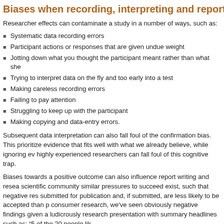Biases when recording, interpreting and reporting f
Researcher effects can contaminate a study in a number of ways, such as:
Systematic data recording errors
Participant actions or responses that are given undue weight
Jotting down what you thought the participant meant rather than what she
Trying to interpret data on the fly and too early into a test
Making careless recording errors
Failing to pay attention
Struggling to keep up with the participant
Making copying and data-entry errors.
Subsequent data interpretation can also fall foul of the confirmation bias. This prioritize evidence that fits well with what we already believe, while ignoring ev highly experienced researchers can fall foul of this cognitive trap.
Biases towards a positive outcome can also influence report writing and resea scientific community similar pressures to succeed exist, such that negative res submitted for publication and, if submitted, are less likely to be accepted than p consumer research, we've seen obviously negative findings given a ludicrously research presentation with summary headlines such as: “5 of the 20 people lik
Researchers doing this risk their credibility. Business stakes are far too high f